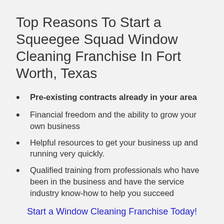Top Reasons To Start a Squeegee Squad Window Cleaning Franchise In Fort Worth, Texas
Pre-existing contracts already in your area
Financial freedom and the ability to grow your own business
Helpful resources to get your business up and running very quickly.
Qualified training from professionals who have been in the business and have the service industry know-how to help you succeed
Start a Window Cleaning Franchise Today!